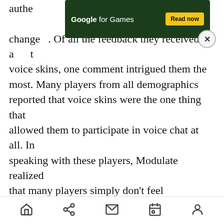[Figure (screenshot): Google for Games advertisement banner with dark green background, white text 'Google for Games' and yellow 'Read now' button, with a close (X) button]
authe... change... Of all the feedback they received about voice skins, one comment intrigued them the most. Many players from all demographics reported that voice skins were the one thing that allowed them to participate in voice chat at all. In speaking with these players, Modulate realized that many players simply don't feel comfortable putting their real voice out there given the unfortunate toxicity and harassment that's all too prevalent in these communities. And it was clear this wasn't merely anecdotal — studies show that 48% of all in-game toxicity now takes place through voice. Given the increasing importance of voice chat for socializing and coordinating in–
Home Share Mail Calendar Profile